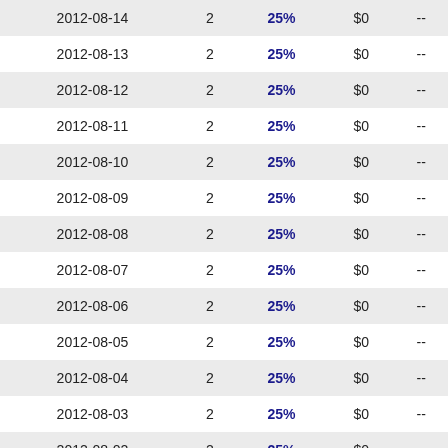| Date | Count | Percent | Amount | Value |
| --- | --- | --- | --- | --- |
| 2012-08-14 | 2 | 25% | $0 | -- |
| 2012-08-13 | 2 | 25% | $0 | -- |
| 2012-08-12 | 2 | 25% | $0 | -- |
| 2012-08-11 | 2 | 25% | $0 | -- |
| 2012-08-10 | 2 | 25% | $0 | -- |
| 2012-08-09 | 2 | 25% | $0 | -- |
| 2012-08-08 | 2 | 25% | $0 | -- |
| 2012-08-07 | 2 | 25% | $0 | -- |
| 2012-08-06 | 2 | 25% | $0 | -- |
| 2012-08-05 | 2 | 25% | $0 | -- |
| 2012-08-04 | 2 | 25% | $0 | -- |
| 2012-08-03 | 2 | 25% | $0 | -- |
| 2012-08-02 | 2 | 25% | $0 | -- |
| 2012-08-01 | 2 | 25% | $0 | -- |
| 2012-07-31 | 2 | 25% | $0 | -- |
| 2012-07-30 | 2 | 25% | $0 | -- |